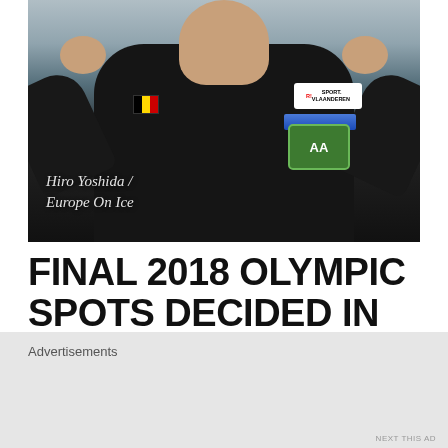[Figure (photo): A person wearing a black puffer vest with a Belgium flag patch and Sport Vlaanderen logo, giving two thumbs up. Text overlay reads: 'Hiro Yoshida / Europe On Ice']
Hiro Yoshida / Europe On Ice
FINAL 2018 OLYMPIC SPOTS DECIDED IN GERMANY
Advertisements